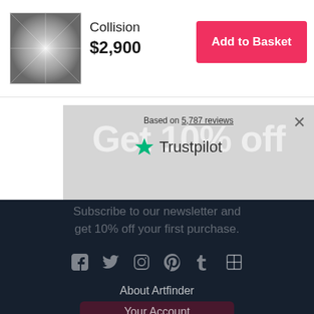[Figure (photo): Product thumbnail image of 'Collision' artwork - silver metallic radiating pattern]
Collision
$2,900
Add to Basket
Based on 5,787 reviews
[Figure (logo): Trustpilot logo with green star]
Get 10% off
Subscribe to our newsletter and get 10% off your first purchase.
[Figure (infographic): Social media icons: Facebook, Twitter, Instagram, Pinterest, Tumblr, Behance]
About Artfinder
Your Account
Delivery
Returns & Refunds
Customer Support
Contact Us